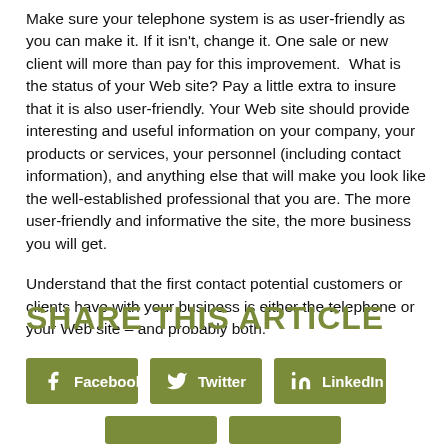Make sure your telephone system is as user-friendly as you can make it. If it isn't, change it. One sale or new client will more than pay for this improvement.  What is the status of your Web site? Pay a little extra to insure that it is also user-friendly. Your Web site should provide interesting and useful information on your company, your products or services, your personnel (including contact information), and anything else that will make you look like the well-established professional that you are. The more user-friendly and informative the site, the more business you will get.
Understand that the first contact potential customers or clients have with your business is either the telephone or your Web site – and probably both.
SHARE THIS ARTICLE